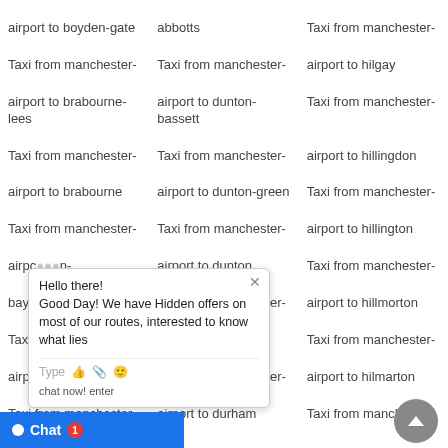airport to boyden-gate
abbotts
Taxi from manchester-
Taxi from manchester-
Taxi from manchester-
airport to hilgay
airport to brabourne-lees
airport to dunton-bassett
Taxi from manchester-
Taxi from manchester-
Taxi from manchester-
airport to hillingdon
airport to brabourne
airport to dunton-green
Taxi from manchester-
Taxi from manchester-
Taxi from manchester-
airport to hillington
airpo[rt to ...]n-
airport to dunton
Taxi from manchester-
bay[...]
Taxi from manchester-
airport to hillmorton
Taxi[...]
airport to dunwich
Taxi from manchester-
airpo[...] n
Taxi from manchester-
airport to hilmarton
Taxi from manchester-
airport to durham
Taxi from manchester-